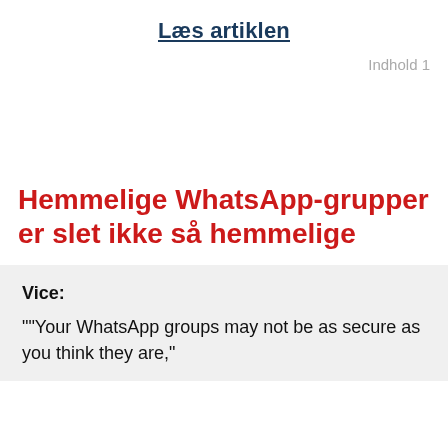Læs artiklen
Indhold 1
Hemmelige WhatsApp-grupper er slet ikke så hemmelige
Vice: ""Your WhatsApp groups may not be as secure as you think they are,"